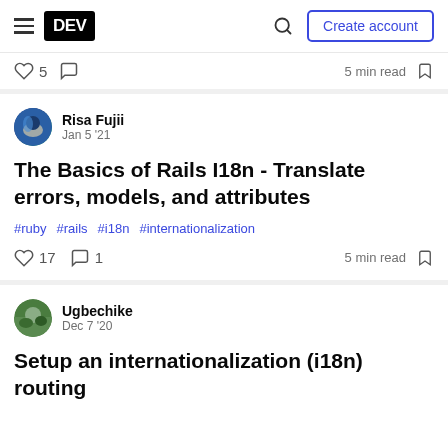DEV logo, hamburger menu, search icon, Create account button
♡ 5  ○  5 min read  🔖
Risa Fujii
Jan 5 '21
The Basics of Rails I18n - Translate errors, models, and attributes
#ruby  #rails  #i18n  #internationalization
♡ 17  ○ 1  5 min read  🔖
Ugbechike
Dec 7 '20
Setup an internationalization (i18n) routing